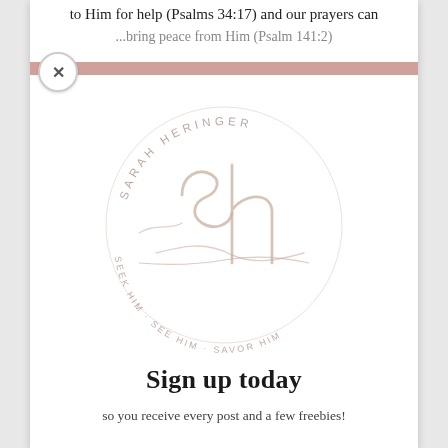to Him for help (Psalms 34:17) and our prayers can
...to bring peace from Him (Psalm 141:2)
[Figure (logo): Sarah Heringer circular logo with cursive 'sh' monogram in the center, arched text 'SARAH HERINGER' along the top arc and 'SEEK HIM · SEE HIM · SAVOR HIM' along the bottom arc, in muted rose/taupe tones]
Sign up today
so you receive every post and a few freebies!